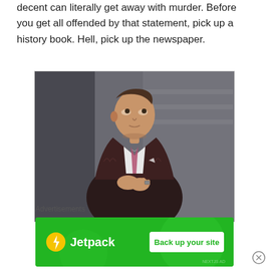decent can literally get away with murder. Before you get all offended by that statement, pick up a history book. Hell, pick up the newspaper.
[Figure (photo): A man in a dark patterned suit with a tie, sitting and looking upward, hands clasped together in front of chest.]
Advertisements
[Figure (infographic): Jetpack advertisement banner: green background with Jetpack logo and 'Back up your site' button.]